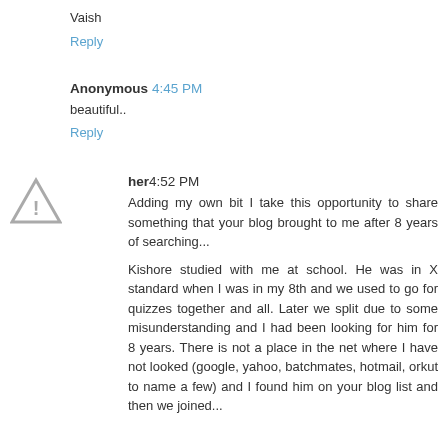Vaish
Reply
Anonymous  4:45 PM
beautiful..
Reply
her  4:52 PM
Adding my own bit I take this opportunity to share something that your blog brought to me after 8 years of searching...
Kishore studied with me at school. He was in X standard when I was in my 8th and we used to go for quizzes together and all. Later we split due to some misunderstanding and I had been looking for him for 8 years. There is not a place in the net where I have not looked (google, yahoo, batchmates, hotmail, orkut to name a few) and I found him on your blog list and then we joined...